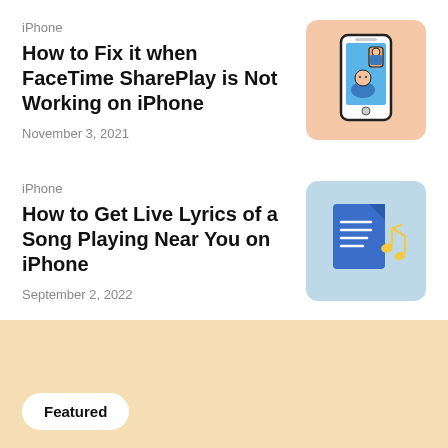iPhone
How to Fix it when FaceTime SharePlay is Not Working on iPhone
November 3, 2021
[Figure (illustration): Illustration of two smartphones on a peach/salmon background showing FaceTime video call with a person icon on screen]
iPhone
How to Get Live Lyrics of a Song Playing Near You on iPhone
September 2, 2022
[Figure (illustration): Illustration of a music lyrics document icon with musical notes on a blue-gray background]
Featured